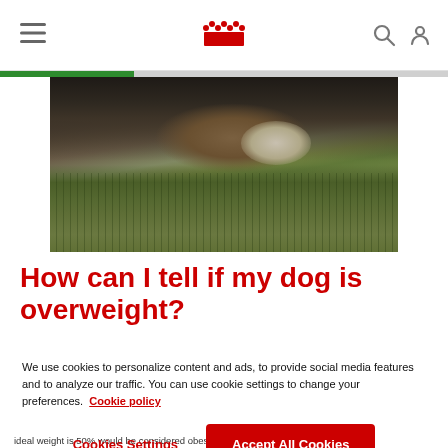Royal Canin website header with hamburger menu, crown logo, search and user icons
[Figure (photo): Close-up photo of a dog lying on green grass, viewed from low angle, dark-colored dog with brown/tan muzzle resting on grass]
How can I tell if my dog is overweight?
We use cookies to personalize content and ads, to provide social media features and to analyze our traffic. You can use cookie settings to change your preferences. Cookie policy
Cookies Settings | Accept All Cookies
ideal weight is 50% would be considered obese if it weighed (9kg...